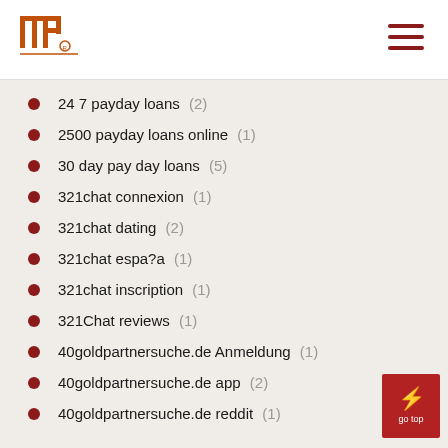INP logo and navigation
24 7 payday loans (2)
2500 payday loans online (1)
30 day pay day loans (5)
321chat connexion (1)
321chat dating (2)
321chat espa?a (1)
321chat inscription (1)
321Chat reviews (1)
40goldpartnersuche.de Anmeldung (1)
40goldpartnersuche.de app (2)
40goldpartnersuche.de reddit (1)